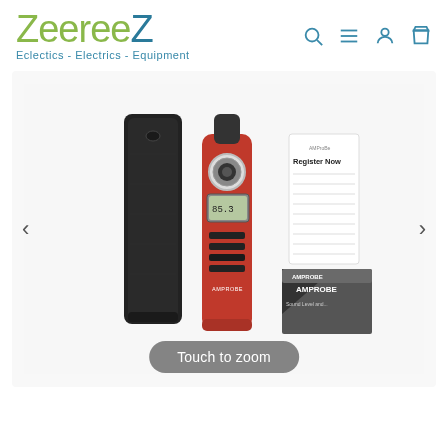[Figure (logo): ZeereeZ logo with tagline 'Eclectics - Electrics - Equipment' in teal/green colors, with navigation icons (search, menu, user, cart) to the right]
[Figure (photo): Product photo showing an Amprobe sound level meter (red handheld device with LCD display and circular sensor), a black carrying case/pouch, a white registration card, and an Amprobe user manual booklet, laid out on a white background. Navigation arrows on left and right sides. 'Touch to zoom' button at the bottom.]